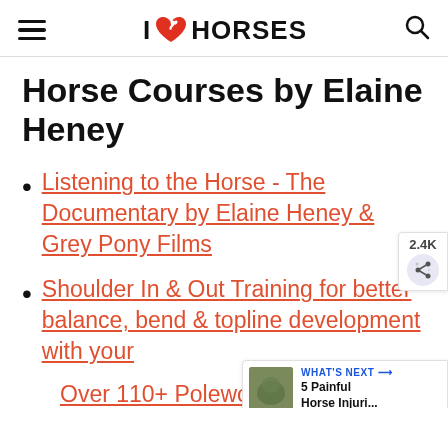I ❤ HORSES
Horse Courses by Elaine Heney
Listening to the Horse - The Documentary by Elaine Heney & Grey Pony Films
Shoulder In & Out Training for better balance, bend & topline development with your
Over 110+ Polework Exercis…